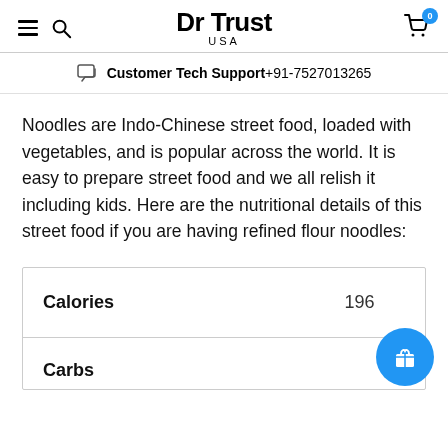Dr Trust USA — Customer Tech Support +91-7527013265
Noodles are Indo-Chinese street food, loaded with vegetables, and is popular across the world. It is easy to prepare street food and we all relish it including kids. Here are the nutritional details of this street food if you are having refined flour noodles:
|  |  |
| --- | --- |
| Calories | 196 |
| Carbs |  |